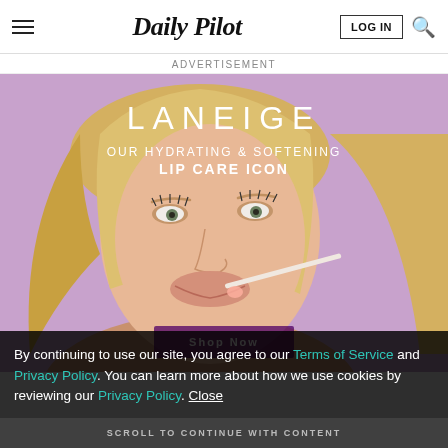Daily Pilot
ADVERTISEMENT
[Figure (photo): Laneige advertisement featuring a young blonde woman applying lip gloss, with stacked colorful Laneige lip sleeping mask jars on the right side against a purple/lavender background. Text reads: LANEIGE — OUR HYDRATING & SOFTENING LIP CARE ICON]
By continuing to use our site, you agree to our Terms of Service and Privacy Policy. You can learn more about how we use cookies by reviewing our Privacy Policy. Close
SCROLL TO CONTINUE WITH CONTENT